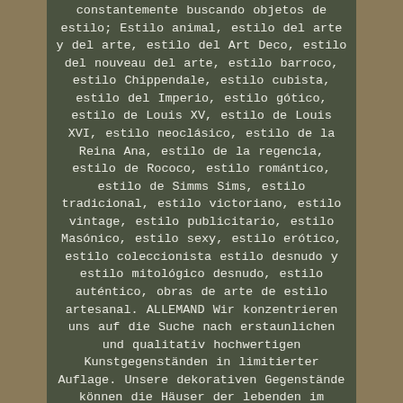constantemente buscando objetos de estilo; Estilo animal, estilo del arte y del arte, estilo del Art Deco, estilo del nouveau del arte, estilo barroco, estilo Chippendale, estilo cubista, estilo del Imperio, estilo gótico, estilo de Louis XV, estilo de Louis XVI, estilo neoclásico, estilo de la Reina Ana, estilo de la regencia, estilo de Rococo, estilo romántico, estilo de Simms Sims, estilo tradicional, estilo victoriano, estilo vintage, estilo publicitario, estilo Masónico, estilo sexy, estilo erótico, estilo coleccionista estilo desnudo y estilo mitológico desnudo, estilo auténtico, obras de arte de estilo artesanal. ALLEMAND Wir konzentrieren uns auf die Suche nach erstaunlichen und qualitativ hochwertigen Kunstgegenständen in limitierter Auflage. Unsere dekorativen Gegenstände können die Häuser der lebenden im Garten sowie die Büros